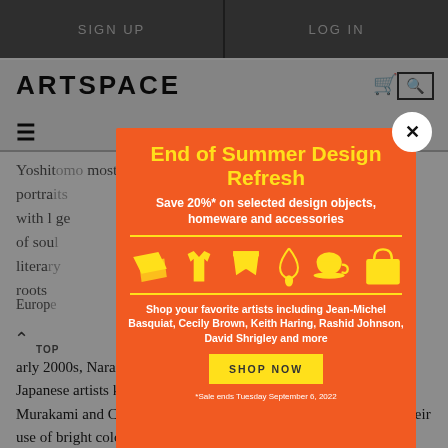SIGN UP  |  LOG IN
ARTSPACE
Yoshit... most... portra... with l... ge of sou... litera... roots... Europ...
[Figure (screenshot): Modal advertisement overlay: End of Summer Design Refresh. Save 20%* on selected design objects, homeware and accessories. Icons of design objects. Shop your favorite artists including Jean-Michel Basquiat, Cecily Brown, Keith Haring, Rashid Johnson, David Shrigley and more. SHOP NOW button. *Sale ends Tuesday September 6, 2022.]
arly 2000s, Nara became associated with an avant-garde group of Japanese artists known as Superflat, which also included Takashi Murakami and Chiho Aoshima. These artists became known for their use of bright colors, patterns, and Japanese cartoon